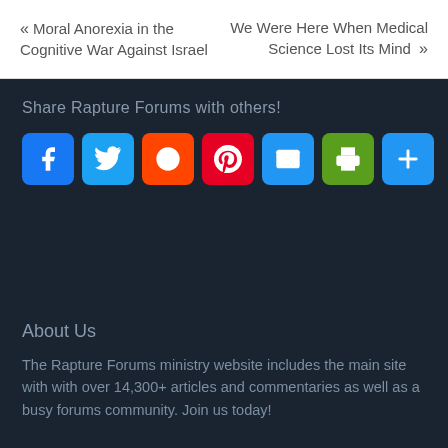« Moral Anorexia in the Cognitive War Against Israel
We Were Here When Medical Science Lost Its Mind »
Share Rapture Forums with others!
[Figure (infographic): Row of 7 social sharing icon buttons: Facebook (blue), Twitter (light blue), Reddit (orange), Pinterest (red), Email (blue), Print (green), Share/More (blue)]
About Us
The Rapture Forums ministry website includes the main site with with over 14,300+ articles and commentaries as well as a busy forums community. Join us today!